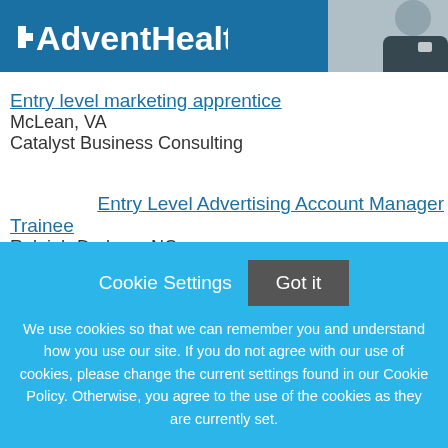[Figure (logo): AdventHealth logo on a blue banner with a nurse photo on the right]
Entry level marketing apprentice
McLean, VA
Catalyst Business Consulting
Entry Level Advertising Account Manager Trainee
Raleigh-Durham, NC
Reynolds and Reynolds
Entry Level Advertising Account Manager
Cookie Settings  Got it
We use cookies so that we can remember you and understand how you use our site. If you do not agree with our use of cookies, please change the current settings found in our Cookie Policy. Otherwise, you agree to the use of the cookies as they are currently set.